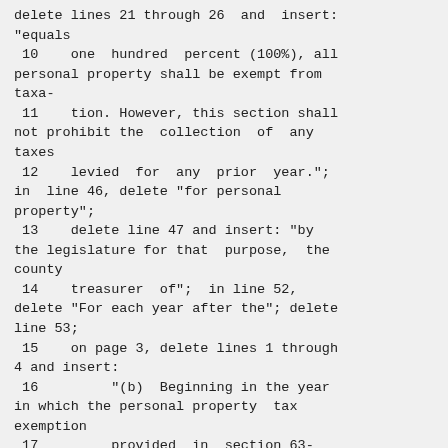delete lines 21 through 26  and  insert: "equals
 10    one  hundred  percent (100%), all personal property shall be exempt from taxa-
 11    tion. However, this section shall not prohibit the  collection  of  any taxes
 12    levied  for  any  prior  year."; in  line 46, delete "for personal property";
 13    delete line 47 and insert: "by the legislature for that  purpose,  the county
 14    treasurer  of";  in line 52, delete "For each year after the"; delete line 53;
 15    on page 3, delete lines 1 through 4 and insert:
 16         "(b)  Beginning in the year in which the personal property  tax exemption
 17         provided  in  section 63-608(2), Idaho Code, becomes effective, the amount